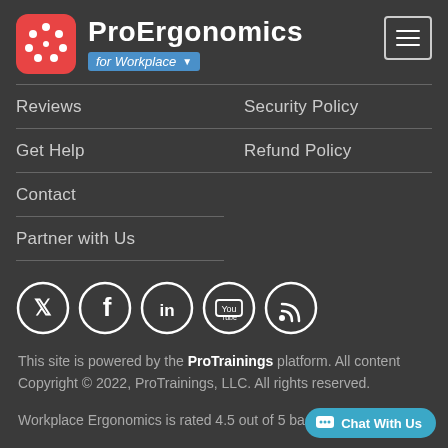[Figure (logo): ProErgonomics logo: red rounded square icon with white dot pattern, title 'ProErgonomics', subtitle badge 'for Workplace' with dropdown arrow, and hamburger menu button]
Reviews
Security Policy
Get Help
Refund Policy
Contact
Partner with Us
[Figure (illustration): Row of five social media icons in white circles: Twitter, Facebook, LinkedIn, YouTube, RSS feed]
This site is powered by the ProTrainings platform. All content Copyright © 2022, ProTrainings, LLC. All rights reserved.
Workplace Ergonomics is rated 4.5 out of 5 based on 140 ratings.